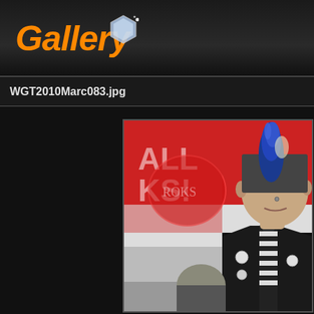Gallery
WGT2010Marc083.jpg
[Figure (photo): A person with a blue mohawk hairstyle, heavy eye makeup, a nose piercing, wearing a black suit jacket with pin badges and a black and white striped tie, standing in front of a red and white banner/sign. Another person is partially visible in the background.]